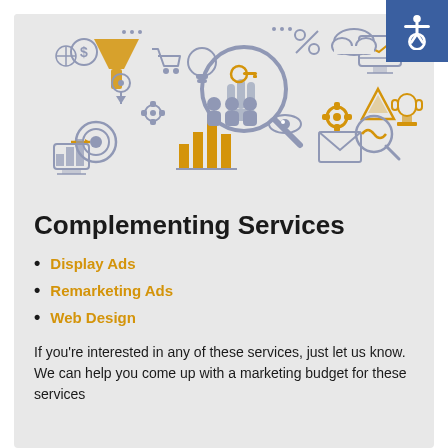[Figure (illustration): Digital marketing themed illustration with icons: magnifying glass, funnel, gears, target, bar charts, people, email, cloud, shopping cart, lightbulb, and a hand pointing at a key/lock concept — all in light gray and golden/amber accents on a light gray background.]
Complementing Services
Display Ads
Remarketing Ads
Web Design
If you're interested in any of these services, just let us know. We can help you come up with a marketing budget for these services